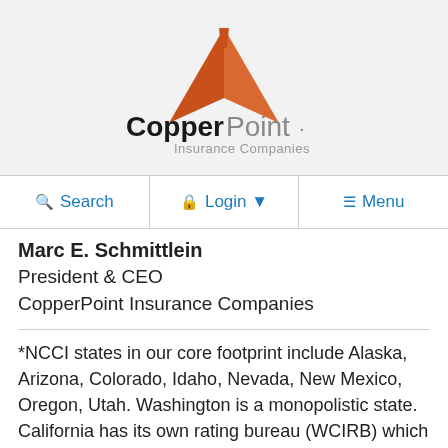[Figure (logo): CopperPoint Insurance Companies logo with orange mountain/rooftop graphic above the text 'CopperPoint. Insurance Companies']
Search   Login ▾   Menu
Marc E. Schmittlein
President & CEO
CopperPoint Insurance Companies
*NCCI states in our core footprint include Alaska, Arizona, Colorado, Idaho, Nevada, New Mexico, Oregon, Utah. Washington is a monopolistic state. California has its own rating bureau (WCIRB) which will be taken into similar action...